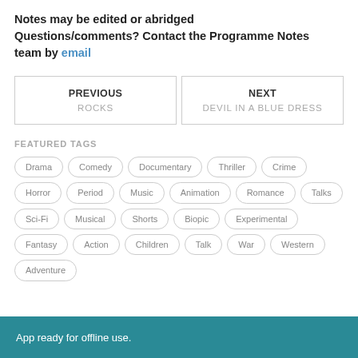Notes may be edited or abridged Questions/comments? Contact the Programme Notes team by email
PREVIOUS
ROCKS
NEXT
DEVIL IN A BLUE DRESS
FEATURED TAGS
Drama
Comedy
Documentary
Thriller
Crime
Horror
Period
Music
Animation
Romance
Talks
Sci-Fi
Musical
Shorts
Biopic
Experimental
Fantasy
Action
Children
Talk
War
Western
Adventure
App ready for offline use.